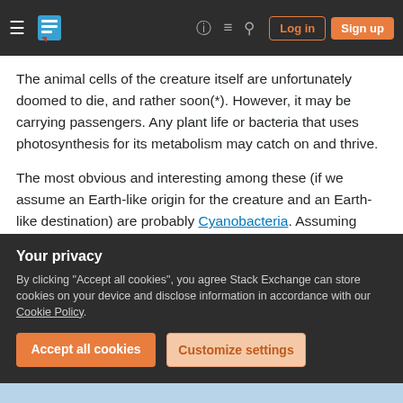Stack Exchange navigation bar with Log in and Sign up buttons
The animal cells of the creature itself are unfortunately doomed to die, and rather soon(*). However, it may be carrying passengers. Any plant life or bacteria that uses photosynthesis for its metabolism may catch on and thrive.
The most obvious and interesting among these (if we assume an Earth-like origin for the creature and an Earth-like destination) are probably Cyanobacteria. Assuming your poor creature splashes down near free water, then this kind of
Your privacy
By clicking "Accept all cookies", you agree Stack Exchange can store cookies on your device and disclose information in accordance with our Cookie Policy.
Accept all cookies   Customize settings